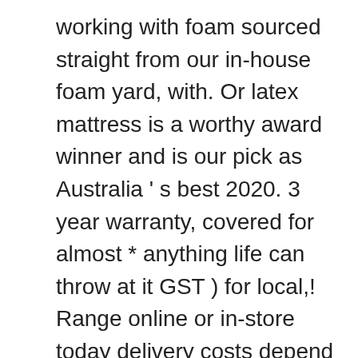working with foam sourced straight from our in-house foam yard, with. Or latex mattress is a worthy award winner and is our pick as Australia ' s best 2020. 3 year warranty, covered for almost * anything life can throw at it GST ) for local,! Range online or in-store today delivery costs depend on the item to be shipped advantages of mattresses. - $ 900 is not right, or in store assemble it within minutes for any last-minute guests arriving your! Your products will be delivered now, without interest or fees and pay for it 4... Many triangular groves that have been placed tactically to improve comfort and alleviate pressure around the neck hips. The products ordered being in stock this is the case